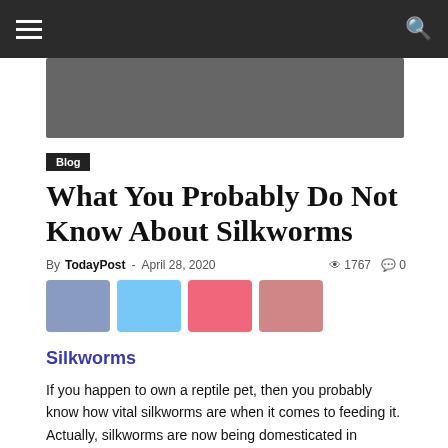≡  🔍
[Figure (other): Dark gray banner image placeholder]
Blog
What You Probably Do Not Know About Silkworms
By TodayPost - April 28, 2020  👁 1767  💬 0
[Figure (other): Social share buttons: Facebook, Twitter, Pinterest, Email]
Silkworms
If you happen to own a reptile pet, then you probably know how vital silkworms are when it comes to feeding it. Actually, silkworms are now being domesticated in different parts of the world with the main intention of silk production or feeding them to turtles and lizards. In fact, their versatility makes